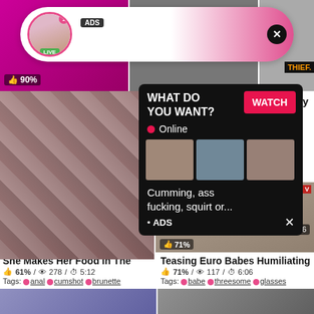[Figure (screenshot): Adult video website screenshot with multiple video thumbnails and popup ads]
Hot S... ssy
90%
Tags:
WHAT DO YOU WANT? WATCH Online Cumming, ass fucking, squirt or... • ADS
61%
DaGF
71%
6:06
She Makes Her Food In The
61% / 278 / 5:12
Tags: anal cumshot brunette
Teasing Euro Babes Humiliating
71% / 117 / 6:06
Tags: babe threesome glasses
[Figure (screenshot): ADS banner: Jeniffer 2000 (00:12) LIVE]
[Figure (screenshot): Popup ad: WHAT DO YOU WANT? WATCH, Online, thumbnails, Cumming ass fucking squirt or... ADS]